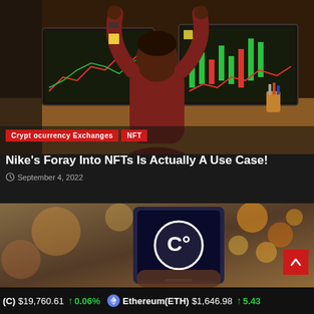[Figure (photo): Person sitting at a trading desk with arms raised in celebration, two monitors showing stock/crypto trading charts]
Cryptocurrency Exchanges
NFT
Nike's Foray Into NFTs Is Actually A Use Case!
September 4, 2022
[Figure (photo): Hand holding a smartphone displaying the Celsius Network logo (C° mark) against a blurred background]
(C) $19,760.61 ↑ 0.06%  Ethereum(ETH) $1,646.98 ↑ 5.43%